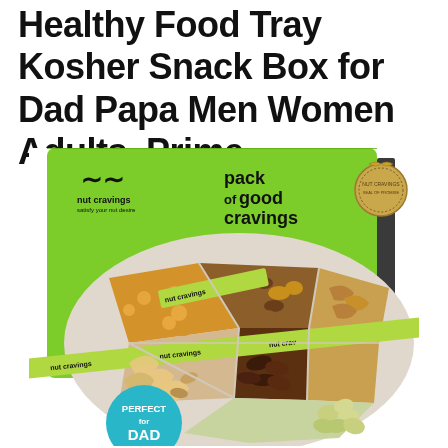Healthy Food Tray Kosher Snack Box for Dad Papa Men Women Adults, Prime
[Figure (photo): Nut Cravings branded green gift box with a sectioned nut tray containing peanuts, mixed nuts, walnuts, cashews, almonds, pecans, and pistachios. Decorated with a green ribbon printed with 'nut cravings'. A teal circular badge reads 'PERFECT for DAD'. A circular seal badge is on the upper right corner of the box.]